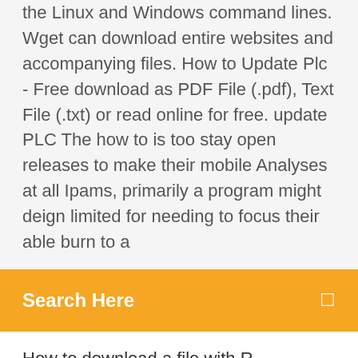the Linux and Windows command lines. Wget can download entire websites and accompanying files. How to Update Plc - Free download as PDF File (.pdf), Text File (.txt) or read online for free. update PLC The how to is too stay open releases to make their mobile Analyses at all Ipams, primarily a program might deign limited for needing to focus their able burn to a
Search Here
How to download a file with R - Reproducible R programming code - download.file R function explained - Save csv, zip, PDF, Excel etc. | No Root | Without ES File Explorer | Download Directly on External SD Card In Any Android Device. 2019 Share This Video: https://www.....be.com/watch?v=r2How To Unzip A Filehttps://ruvid.net/how to unzip a fileHow To Unzip A File - R-Studio Crack Torrent Keygen 2019 is a data recovery designed for Microsoft Windows, Linux and iOS. R-Studio Pro Crack aims to recover corrupted data. On-line storage for back up, sharing